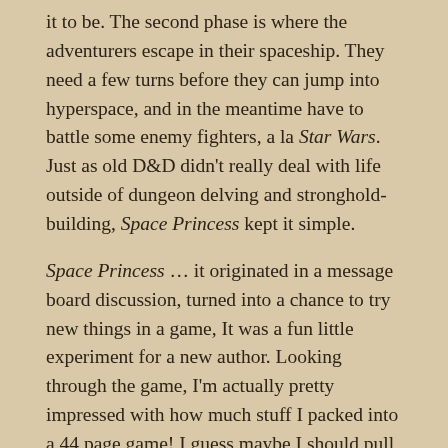it to be. The second phase is where the adventurers escape in their spaceship. They need a few turns before they can jump into hyperspace, and in the meantime have to battle some enemy fighters, a la Star Wars. Just as old D&D didn't really deal with life outside of dungeon delving and stronghold-building, Space Princess kept it simple.
Space Princess … it originated in a message board discussion, turned into a chance to try new things in a game, It was a fun little experiment for a new author. Looking through the game, I'm actually pretty impressed with how much stuff I packed into a 44 page game! I guess maybe I should pull Tales of the Space Princess back out and give it another go. My daughter had a blast testing it when she was 14, and I